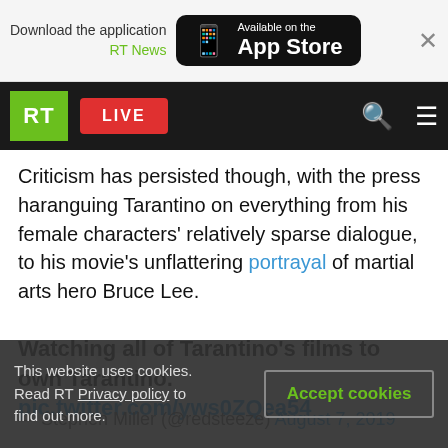Download the application RT News — Available on the App Store
RT LIVE
Criticism has persisted though, with the press haranguing Tarantino on everything from his female characters' relatively sparse dialogue, to his movie's unflattering portrayal of martial arts hero Bruce Lee.
Watching all of Tarantino's films to own Tarantino. pic.twitter.com/yws0ZQea54
— Stephen Miller (@redsteeze) August 7, 2019
This website uses cookies. Read RT Privacy policy to find out more.